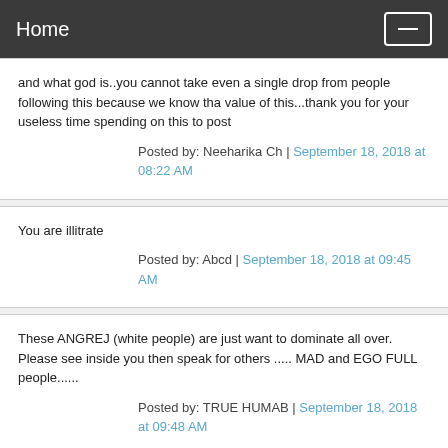Home
and what god is..you cannot take even a single drop from people following this because we know tha value of this...thank you for your useless time spending on this to post
Posted by: Neeharika Ch | September 18, 2018 at 08:22 AM
You are illitrate
Posted by: Abcd | September 18, 2018 at 09:45 AM
These ANGREJ (white people) are just want to dominate all over. Please see inside you then speak for others ..... MAD and EGO FULL people......
Posted by: TRUE HUMAB | September 18, 2018 at 09:48 AM